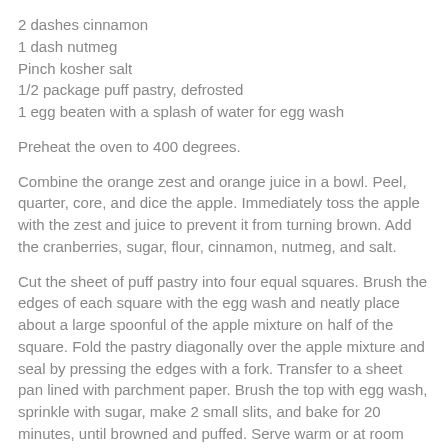2 dashes cinnamon
1 dash nutmeg
Pinch kosher salt
1/2 package puff pastry, defrosted
1 egg beaten with a splash of water for egg wash
Preheat the oven to 400 degrees.
Combine the orange zest and orange juice in a bowl. Peel, quarter, core, and dice the apple. Immediately toss the apple with the zest and juice to prevent it from turning brown. Add the cranberries, sugar, flour, cinnamon, nutmeg, and salt.
Cut the sheet of puff pastry into four equal squares. Brush the edges of each square with the egg wash and neatly place about a large spoonful of the apple mixture on half of the square. Fold the pastry diagonally over the apple mixture and seal by pressing the edges with a fork. Transfer to a sheet pan lined with parchment paper. Brush the top with egg wash, sprinkle with sugar, make 2 small slits, and bake for 20 minutes, until browned and puffed. Serve warm or at room temperature.